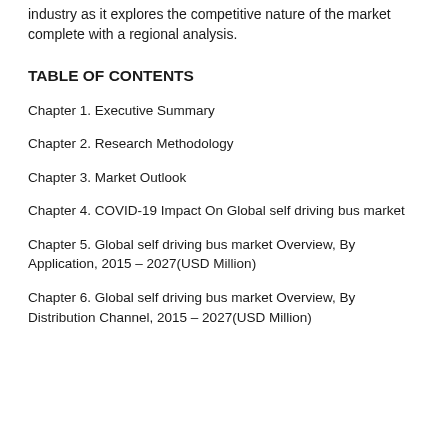industry as it explores the competitive nature of the market complete with a regional analysis.
TABLE OF CONTENTS
Chapter 1. Executive Summary
Chapter 2. Research Methodology
Chapter 3. Market Outlook
Chapter 4. COVID-19 Impact On Global self driving bus market
Chapter 5. Global self driving bus market Overview, By Application, 2015 – 2027(USD Million)
Chapter 6. Global self driving bus market Overview, By Distribution Channel, 2015 – 2027(USD Million)